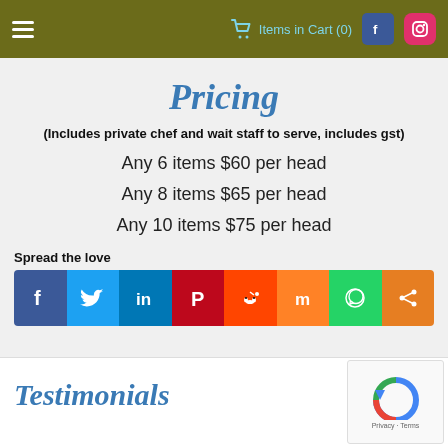Items in Cart (0)
Pricing
(Includes private chef and wait staff to serve, includes gst)
Any 6 items $60 per head
Any 8 items $65 per head
Any 10 items $75 per head
Spread the love
[Figure (infographic): Social sharing icons: Facebook, Twitter, LinkedIn, Pinterest, Reddit, Mix, WhatsApp, Share]
Testimonials